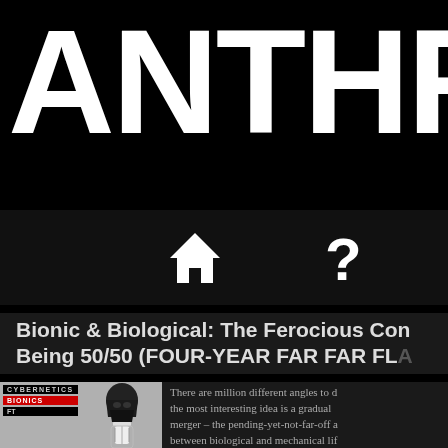ANTHR
[Figure (illustration): Navigation icons: home (house) icon and question mark icon on dark background]
Bionic & Biological: The Ferocious Conundrum of Being 50/50 (FOUR-YEAR FAR FAR FLASHBACK)
[Figure (photo): Article thumbnail image showing Darth Vader figure with CYBERNETICS, BIONICS, FT labels overlay]
There are million different angles to discuss but the most interesting idea is a gradual merger – the pending-yet-not-far-off amalgam between biological and mechanical li...